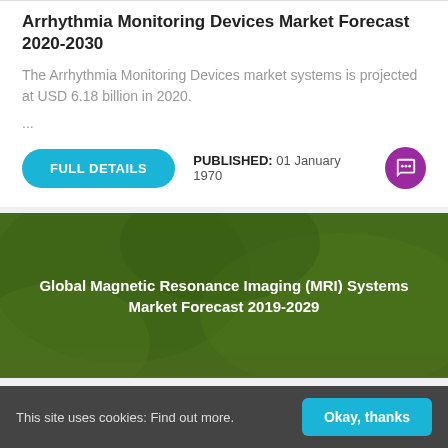Arrhythmia Monitoring Devices Market Forecast 2020-2030
The Arrhythmia Monitoring Devices market systems is projected at USD 6.18 billion in 2020.
...
FULL DETAILS
PUBLISHED: 01 January 1970
[Figure (photo): Green background image with overlaid text for Global Magnetic Resonance Imaging (MRI) Systems Market Forecast 2019-2029]
Global Magnetic Resonance Imaging (MRI) Systems Market Forecast 2019-2029
This site uses cookies: Find out more.
Okay, thanks